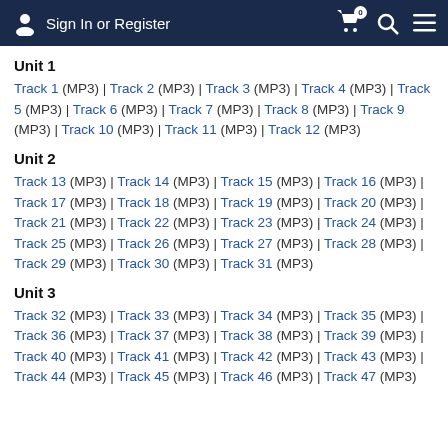Sign In or Register
Unit 1
Track 1 (MP3) | Track 2 (MP3) | Track 3 (MP3) | Track 4 (MP3) | Track 5 (MP3) | Track 6 (MP3) | Track 7 (MP3) | Track 8 (MP3) | Track 9 (MP3) | Track 10 (MP3) | Track 11 (MP3) | Track 12 (MP3)
Unit 2
Track 13 (MP3) | Track 14 (MP3) | Track 15 (MP3) | Track 16 (MP3) | Track 17 (MP3) | Track 18 (MP3) | Track 19 (MP3) | Track 20 (MP3) | Track 21 (MP3) | Track 22 (MP3) | Track 23 (MP3) | Track 24 (MP3) | Track 25 (MP3) | Track 26 (MP3) | Track 27 (MP3) | Track 28 (MP3) | Track 29 (MP3) | Track 30 (MP3) | Track 31 (MP3)
Unit 3
Track 32 (MP3) | Track 33 (MP3) | Track 34 (MP3) | Track 35 (MP3) | Track 36 (MP3) | Track 37 (MP3) | Track 38 (MP3) | Track 39 (MP3) | Track 40 (MP3) | Track 41 (MP3) | Track 42 (MP3) | Track 43 (MP3) | Track 44 (MP3) | Track 45 (MP3) | Track 46 (MP3) | Track 47 (MP3)